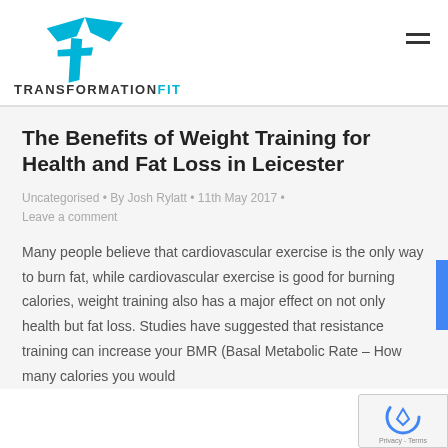TRANSFORMATIONFIT
The Benefits of Weight Training for Health and Fat Loss in Leicester
Uncategorised • By Josh Rylatt • 11th May 2017 •
Leave a comment
Many people believe that cardiovascular exercise is the only way to burn fat, while cardiovascular exercise is good for burning calories, weight training also has a major effect on not only health but fat loss. Studies have suggested that resistance training can increase your BMR (Basal Metabolic Rate – How many calories you would